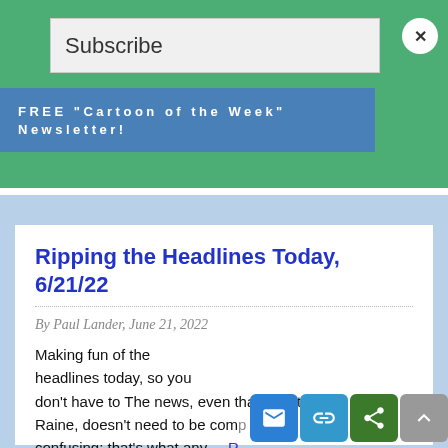Subscribe
FREE "Cartoon of the Week" Newsletter!
Ripping the Headlines Today, 6/21/22
By Paul Lander, June 21, 2022
Making fun of the headlines today, so you don't have to The news, even that about Ava Raine, doesn't need to be com confusing; that's what any ... R